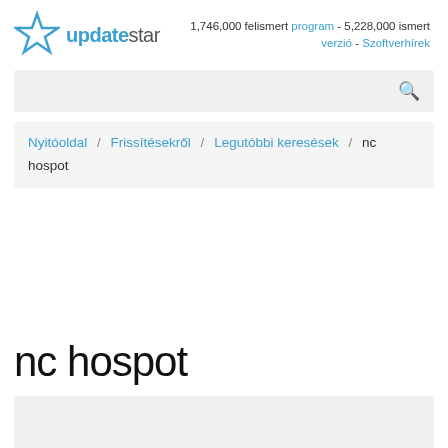updatestar — 1,746,000 felismert program - 5,228,000 ismert verzió - Szoftverhírek
Nyitóoldal / Frissítésekről / Legutóbbi keresések / nc hospot
nc hospot